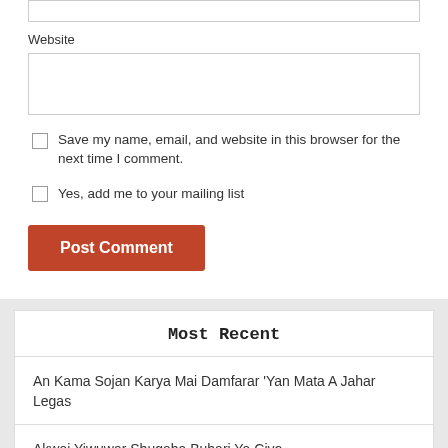Website
Save my name, email, and website in this browser for the next time I comment.
Yes, add me to your mailing list
Post Comment
Most Recent
An Kama Sojan Karya Mai Damfarar 'Yan Mata A Jahar Legas
Akwai Yiwuwar Shugaba Buhari Ya Ciyo